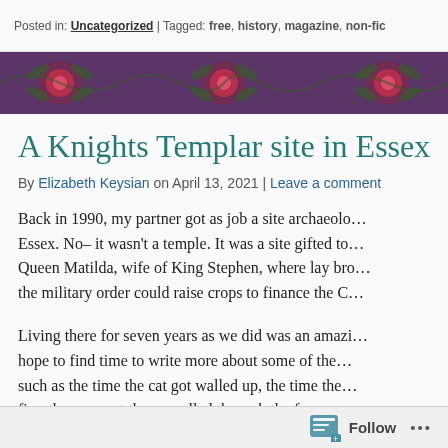Posted in: Uncategorized | Tagged: free, history, magazine, non-fic
A Knights Templar site in Essex
By Elizabeth Keysian on April 13, 2021 | Leave a comment
Back in 1990, my partner got as job a site archaeolo... Essex. No– it wasn't a temple. It was a site gifted to... Queen Matilda, wife of King Stephen, where lay bro... the military order could raise crops to finance the C...
Living there for seven years as we did was an amazi... hope to find time to write more about some of the... such as the time the cat got walled up, the time the... fire, the moment the car rolled through the fence,... TV crew came and wrecked the archaeology, but I g...
Follow ...